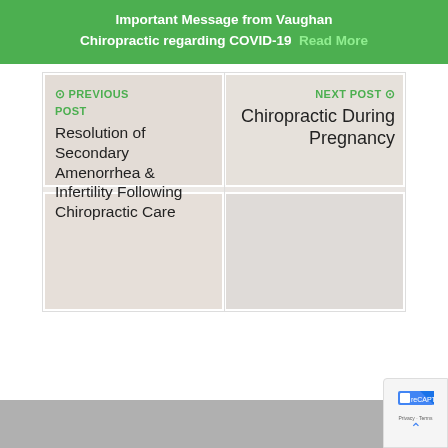Important Message from Vaughan Chiropractic regarding COVID-19  Read More
PREVIOUS POST
Resolution of Secondary Amenorrhea & Infertility Following Chiropractic Care
NEXT POST
Chiropractic During Pregnancy
[Figure (screenshot): Navigation section with two post links side by side, with photo collage background showing chiropractic clinic images]
[Figure (other): reCAPTCHA badge in bottom right corner]